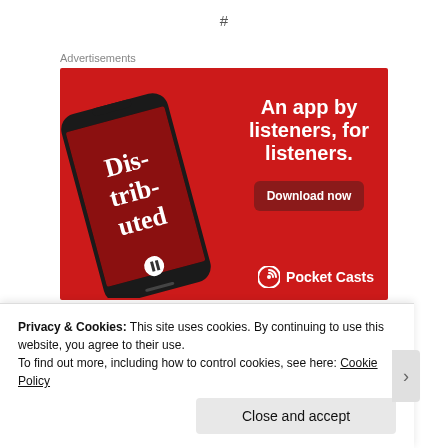#
Advertisements
[Figure (photo): Pocket Casts advertisement showing a smartphone with the app open displaying 'Dis-trib-uted' podcast. Text reads: 'An app by listeners, for listeners.' with a 'Download now' button and the Pocket Casts logo at the bottom.]
Privacy & Cookies: This site uses cookies. By continuing to use this website, you agree to their use.
To find out more, including how to control cookies, see here: Cookie Policy
Close and accept